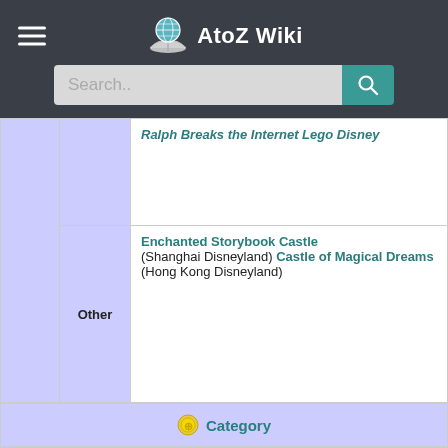AtoZ Wiki
|  | Other | Content |
| --- | --- | --- |
|  |  | Ralph Breaks the Internet Lego Disney |
|  | Other | Enchanted Storybook Castle (Shanghai Disneyland) Castle of Magical Dreams (Hong Kong Disneyland) |
Category
VTE
Disney's live-action/CGI adaptations of animated franchises
|  |  | Content |
| --- | --- | --- |
|  |  | The Jungle Book (1994) 101 Dalmatians (1996) |